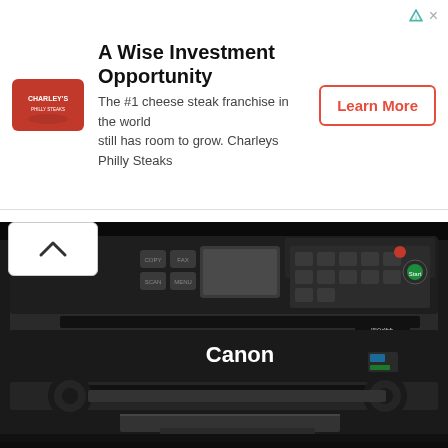[Figure (advertisement): Charleys Philly Steaks franchise advertisement banner with logo, headline 'A Wise Investment Opportunity', body text, and Learn More button]
[Figure (photo): Photograph of a Canon MX922 all-in-one inkjet printer, black color, shown from the front with paper tray extended]